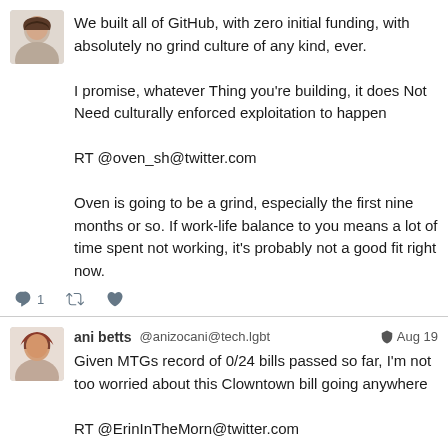[Figure (photo): Avatar photo of a woman with dark hair, first tweet]
We built all of GitHub, with zero initial funding, with absolutely no grind culture of any kind, ever.

I promise, whatever Thing you're building, it does Not Need culturally enforced exploitation to happen

RT @oven_sh@twitter.com

Oven is going to be a grind, especially the first nine months or so. If work-life balance to you means a lot of time spent not working, it's probably not a good fit right now.
[Figure (photo): Avatar photo of ani betts, woman with reddish-brown hair]
ani betts @anizocani@tech.lgbt  Aug 19
Given MTGs record of 0/24 bills passed so far, I'm not too worried about this Clowntown bill going anywhere

RT @ErinInTheMorn@twitter.com